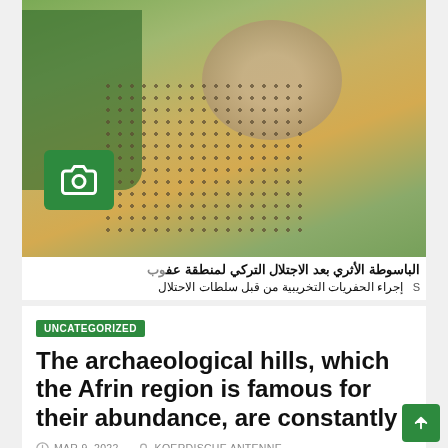[Figure (photo): Satellite aerial view of the Afrin region showing agricultural fields with a grid pattern of trees/orchards, a circular archaeological mound, and a camera icon overlay. Arabic text caption at the bottom of the image reads: 'الباسوطة الأثري بعد الاجتلال التركي لمنطقة عف...' and 'إجراء الحفريات التخريبية من قبل سلطات الاحتلال']
UNCATEGORIZED
The archaeological hills, which the Afrin region is famous for their abundance, are constantly
MAR 9, 2022   KOERDISCHE ANTENNE
The archaeological hills, which the Afrin region is